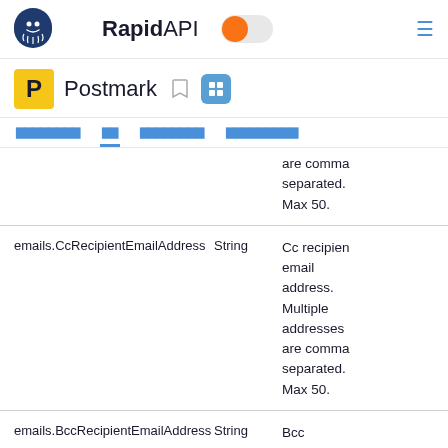RapidAPI — Postmark
are comma separated. Max 50.
| Field | Type | Description |
| --- | --- | --- |
| emails.CcRecipientEmailAddress | String | Cc recipient email address. Multiple addresses are comma separated. Max 50. |
| emails.BccRecipientEmailAddress | String | Bcc recipient email... |